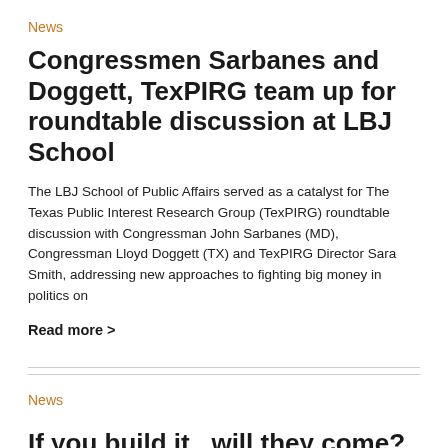News
Congressmen Sarbanes and Doggett, TexPIRG team up for roundtable discussion at LBJ School
The LBJ School of Public Affairs served as a catalyst for The Texas Public Interest Research Group (TexPIRG) roundtable discussion with Congressman John Sarbanes (MD), Congressman Lloyd Doggett (TX) and TexPIRG Director Sara Smith, addressing new approaches to fighting big money in politics on
Read more >
News
If you build it...will they come? LBJ class researches open aid data use in Uganda